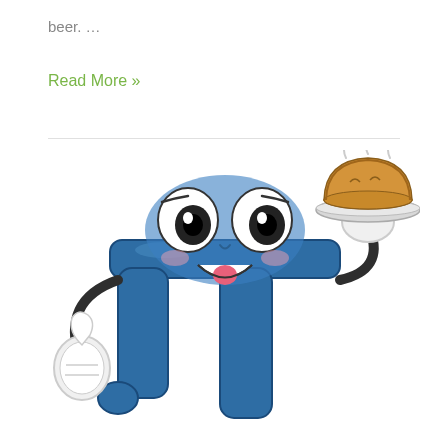beer. …
Read More »
[Figure (illustration): Cartoon mascot of the pi symbol (π) rendered as a cheerful blue character with large googly eyes and a smile, giving a thumbs-up with its left hand and holding a steaming pie on a plate with its right hand raised above its head.]